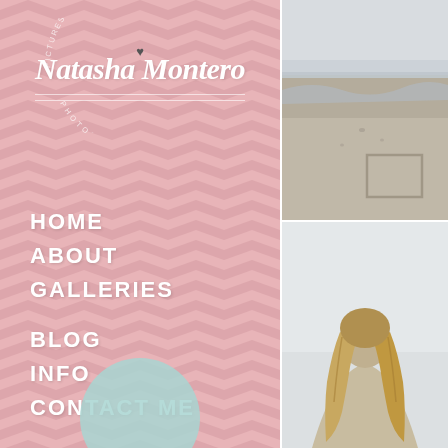[Figure (illustration): Photography website sidebar with pink chevron background, 'Natasha Montero Photography' branding logo with cursive script, navigation menu items HOME, ABOUT, GALLERIES, BLOG, INFO, CONTACT ME in white bold text]
HOME
ABOUT
GALLERIES
BLOG
INFO
CONTACT ME
[Figure (photo): Beach scene photo showing sandy shore with ocean waves and something drawn in the sand]
[Figure (photo): Photo of a woman with long blonde hair seen from behind, standing against a hazy sky]